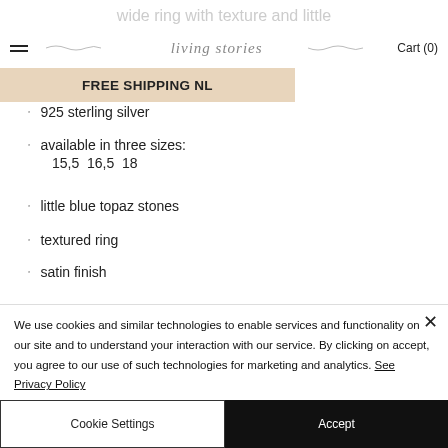wide ring with texture and little blue topaz stones
living stories  Cart (0)
FREE SHIPPING NL
925 sterling silver
available in three sizes: 15,5  16,5  18
little blue topaz stones
textured ring
satin finish
We use cookies and similar technologies to enable services and functionality on our site and to understand your interaction with our service. By clicking on accept, you agree to our use of such technologies for marketing and analytics. See Privacy Policy
Cookie Settings
Accept